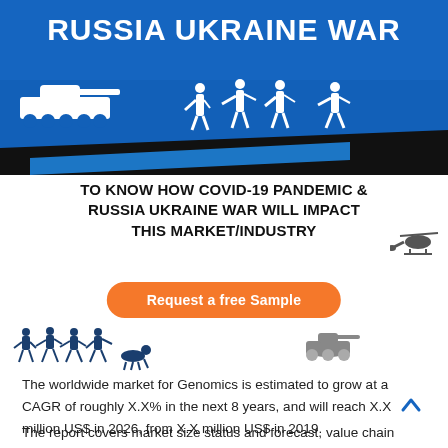[Figure (illustration): Blue banner with white text 'RUSSIA UKRAINE WAR', white silhouettes of a tank and soldiers, black and blue diagonal stripes at bottom]
TO KNOW HOW COVID-19 PANDEMIC & RUSSIA UKRAINE WAR WILL IMPACT THIS MARKET/INDUSTRY
[Figure (illustration): Orange rounded-rectangle button labeled 'Request a free Sample', with a small helicopter silhouette to the right]
[Figure (illustration): Row of dark blue soldier silhouettes on the left, and grey military vehicle silhouettes on the right]
The worldwide market for Genomics is estimated to grow at a CAGR of roughly X.X% in the next 8 years, and will reach X.X million US$ in 2026, from X.X million US$ in 2019.
The report covers market size status and forecast, value chain